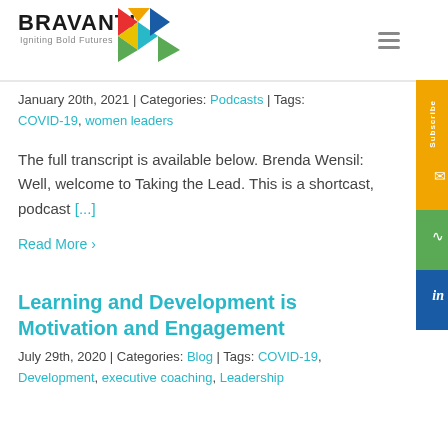[Figure (logo): Bravanti logo with colorful arrow/pinwheel graphic and tagline 'Igniting Bold Futures']
January 20th, 2021 | Categories: Podcasts | Tags: COVID-19, women leaders
The full transcript is available below. Brenda Wensil: Well, welcome to Taking the Lead. This is a shortcast, podcast [...]
Read More >
Learning and Development is Motivation and Engagement
July 29th, 2020 | Categories: Blog | Tags: COVID-19, Development, executive coaching, Leadership